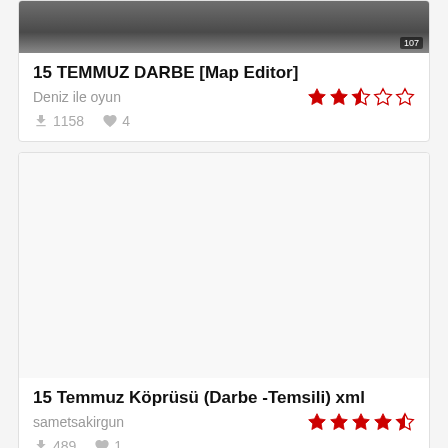[Figure (screenshot): Thumbnail image of 15 TEMMUZ DARBE map with road scene, partially cropped at top. Badge showing '107' visible at bottom right.]
15 TEMMUZ DARBE [Map Editor]
Deniz ile oyun
1158 downloads, 4 likes, rating: 2.5 stars out of 5
[Figure (screenshot): Large blank thumbnail placeholder for 15 Temmuz Köprüsü (Darbe -Temsili) xml map entry.]
15 Temmuz Köprüsü (Darbe -Temsili) xml
sametsakirgun
489 downloads, 1 like, rating: 4.5 stars out of 5